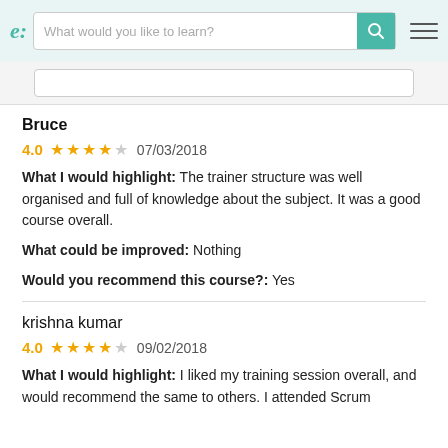e: What would you like to learn?
Bruce
4.0  ★★★★☆  07/03/2018
What I would highlight: The trainer structure was well organised and full of knowledge about the subject. It was a good course overall.
What could be improved: Nothing
Would you recommend this course?: Yes
krishna kumar
4.0  ★★★★☆  09/02/2018
What I would highlight: I liked my training session overall, and would recommend the same to others. I attended Scrum